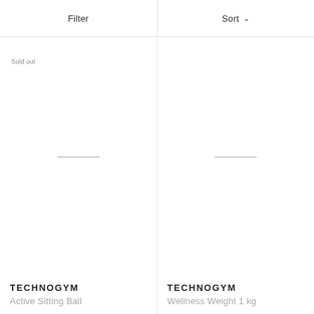Filter   Sort
Sold out
[Figure (photo): Product image placeholder for Active Sitting Ball]
TECHNOGYM
Active Sitting Ball
[Figure (photo): Product image placeholder for Wellness Weight 1 kg]
TECHNOGYM
Wellness Weight 1 kg